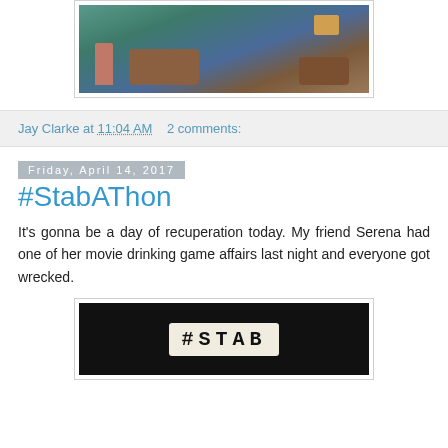[Figure (photo): A scene with illustrated/animated characters in a living room with teal walls and a brown couch]
Jay Clarke at 11:04 AM   2 comments:
Friday, April 14, 2017
#StabAThon
It's gonna be a day of recuperation today. My friend Serena had one of her movie drinking game affairs last night and everyone got wrecked.
[Figure (photo): A lightbox sign displaying '#STAB' in bold letters on a black background]